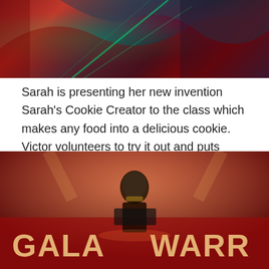[Figure (photo): Colorful image with dark red, teal and purple tones, appears to be a decorative or action scene with bright green energy effects]
Sarah is presenting her new invention Sarah's Cookie Creator to the class which makes any food into a delicious cookie. Victor volunteers to try it out and puts Monty's lunch of sardines, disgusting broccoli and liver into the machine.
Out pops a cookie with a broccoli on top. Monty and Victor try it and it's pretty good.
[Figure (photo): A figure in costume standing in front of a large illuminated sign reading GALAXY WARRIORS, with red and orange lighting and stadium-like atmosphere]